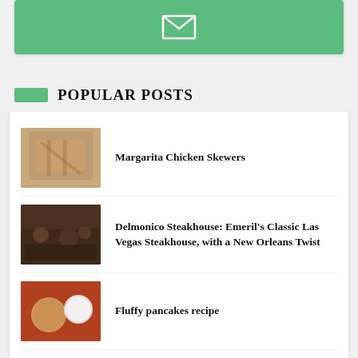[Figure (illustration): Green banner with white envelope/mail icon]
POPULAR POSTS
[Figure (photo): Thumbnail image of Margarita Chicken Skewers - raw chicken on grill]
Margarita Chicken Skewers
[Figure (photo): Thumbnail image of Delmonico Steakhouse interior]
Delmonico Steakhouse: Emeril's Classic Las Vegas Steakhouse, with a New Orleans Twist
[Figure (photo): Thumbnail image of Fluffy pancakes recipe - pancakes and milk]
Fluffy pancakes recipe
[Figure (photo): Thumbnail image of Baked vegetables - colorful roasted vegetables on plate]
Baked vegetables